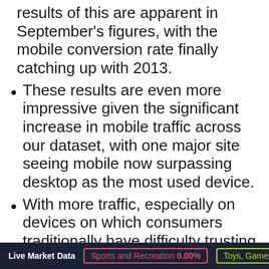results of this are apparent in September's figures, with the mobile conversion rate finally catching up with 2013.
These results are even more impressive given the significant increase in mobile traffic across our dataset, with one major site seeing mobile now surpassing desktop as the most used device.
With more traffic, especially on devices on which consumers traditionally have difficulty trusting for transactional purposes, to keep the conversion rate on a par with last year is an impressive result.
It could also be argued that, whilst mobile conversion remains low, more and more people are using multiple devices before making a purchase; the improved
Live Market Data   Sports and Recreation 0.00%   Toys, Games &